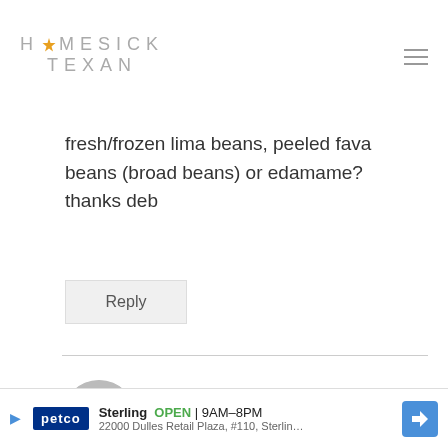HOMESICK TEXAN
fresh/frozen lima beans, peeled fava beans (broad beans) or edamame? thanks deb
Reply
Lisa Fain says:
Hi Deb–I'd use fava beans.
[Figure (other): Petco advertisement banner showing Sterling location open 9AM-8PM at 22000 Dulles Retail Plaza, #110, Sterling]